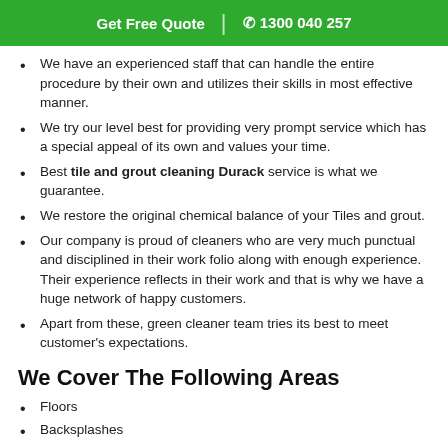Get Free Quote | 1300 040 257
We have an experienced staff that can handle the entire procedure by their own and utilizes their skills in most effective manner.
We try our level best for providing very prompt service which has a special appeal of its own and values your time.
Best tile and grout cleaning Durack service is what we guarantee.
We restore the original chemical balance of your Tiles and grout.
Our company is proud of cleaners who are very much punctual and disciplined in their work folio along with enough experience. Their experience reflects in their work and that is why we have a huge network of happy customers.
Apart from these, green cleaner team tries its best to meet customer's expectations.
We Cover The Following Areas
Floors
Backsplashes